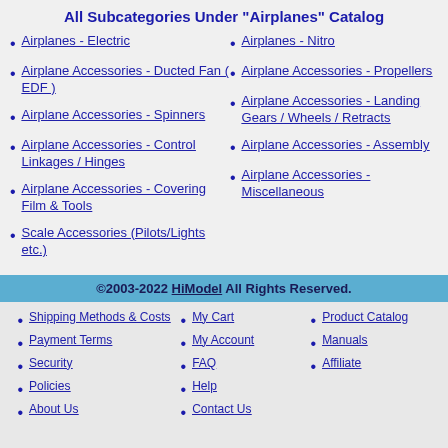All Subcategories Under "Airplanes" Catalog
Airplanes - Electric
Airplanes - Nitro
Airplane Accessories - Ducted Fan ( EDF )
Airplane Accessories - Propellers
Airplane Accessories - Spinners
Airplane Accessories - Landing Gears / Wheels / Retracts
Airplane Accessories - Control Linkages / Hinges
Airplane Accessories - Assembly
Airplane Accessories - Covering Film & Tools
Airplane Accessories - Miscellaneous
Scale Accessories (Pilots/Lights etc.)
©2003-2022 HiModel All Rights Reserved.
Shipping Methods & Costs
Payment Terms
Security
Policies
About Us
My Cart
My Account
FAQ
Help
Contact Us
Product Catalog
Manuals
Affiliate